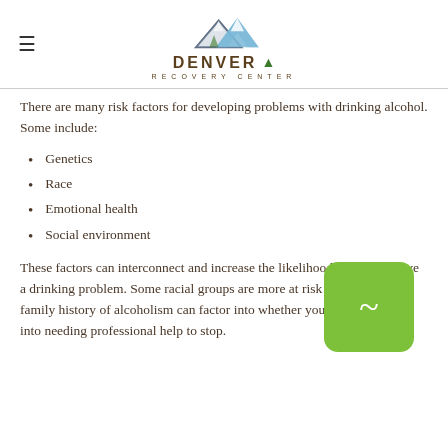Denver Recovery Center
There are many risk factors for developing problems with drinking alcohol. Some include:
Genetics
Race
Emotional health
Social environment
These factors can interconnect and increase the likelihood that you'll have a drinking problem. Some racial groups are more at risk than others. A family history of alcoholism can factor into whether your drinking turns into needing professional help to stop.